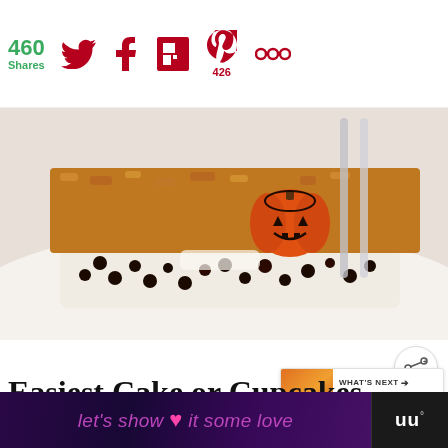460 Shares — social share icons: Twitter, Facebook, Flipboard, Pinterest (426), more
[Figure (photo): Close-up photo of a pumpkin spice cake slice topped with crumble and a small orange plastic jack-o-lantern decoration, with white cream filling and chocolate chips, a fork in the background]
Easiest Cake or Cupcakes Ever.
[Figure (infographic): What's Next panel: Pumpkin Custard... with thumbnail]
[Figure (infographic): Advertisement banner: let's show it some love with heart icon and logo mark]